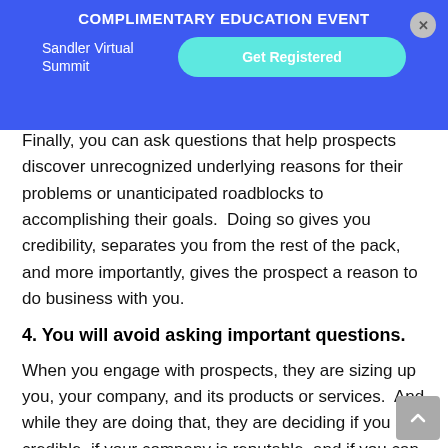COMPLIMENTARY EDUCATION EVENT
Sandler Virtual Summit
Get Registered
Finally, you can ask questions that help prospects discover unrecognized underlying reasons for their problems or unanticipated roadblocks to accomplishing their goals.  Doing so gives you credibility, separates you from the rest of the pack, and more importantly, gives the prospect a reason to do business with you.
4. You will avoid asking important questions.
When you engage with prospects, they are sizing up you, your company, and its products or services.  And while they are doing that, they are deciding if you are credible, if your company is reputable, and if you can provide a best-fit solution for the outcomes they desire.